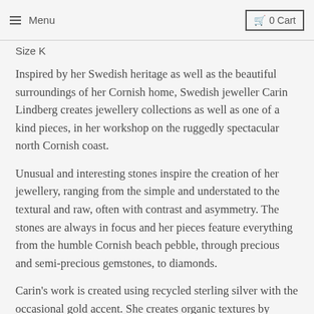≡ Menu   🛒 0 Cart
Size K
Inspired by her Swedish heritage as well as the beautiful surroundings of her Cornish home, Swedish jeweller Carin Lindberg creates jewellery collections as well as one of a kind pieces, in her workshop on the ruggedly spectacular north Cornish coast.
Unusual and interesting stones inspire the creation of her jewellery, ranging from the simple and understated to the textural and raw, often with contrast and asymmetry. The stones are always in focus and her pieces feature everything from the humble Cornish beach pebble, through precious and semi-precious gemstones, to diamonds.
Carin's work is created using recycled sterling silver with the occasional gold accent. She creates organic textures by fusing, and the metal is given an understated frosted matte